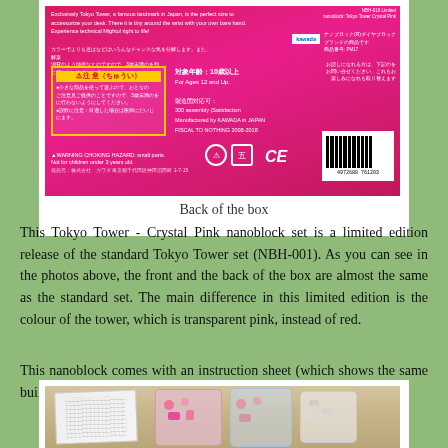[Figure (photo): Back of a pink nanoblock Tokyo Tower Crystal Pink box showing Japanese text, warning labels, barcode, and CE mark]
Back of the box
This Tokyo Tower - Crystal Pink nanoblock set is a limited edition release of the standard Tokyo Tower set (NBH-001). As you can see in the photos above, the front and the back of the box are almost the same as the standard set. The main difference in this limited edition is the colour of the tower, which is transparent pink, instead of red.
This nanoblock comes with an instruction sheet (which shows the same build process as the standard set) and 220+ bricks.
[Figure (photo): Contents of the nanoblock set including instruction sheet and pink/clear bricks in bags on a wooden surface]